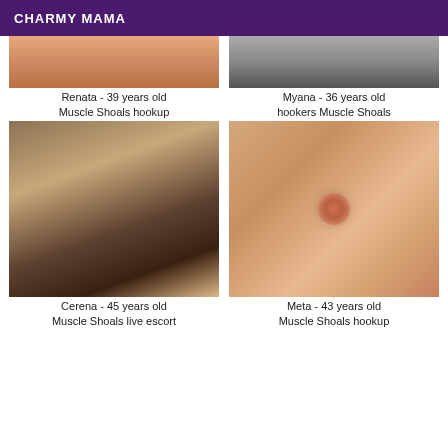CHARMY MAMA
Renata - 39 years old
Myana - 36 years old
Muscle Shoals hookup
hookers Muscle Shoals
[Figure (photo): Photo of legs/shoes]
[Figure (photo): Close-up skin photo]
Cerena - 45 years old
Meta - 43 years old
Muscle Shoals live escort
Muscle Shoals hookup